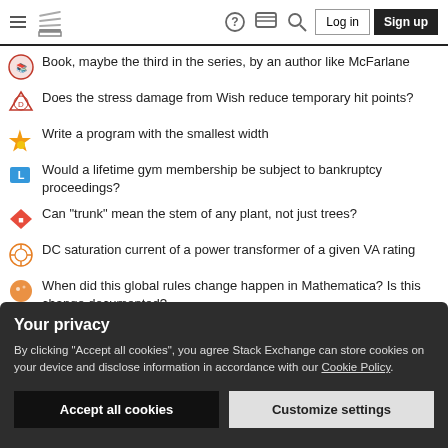Stack Exchange navigation header with hamburger menu, logo, help, chat, search icons, Log in and Sign up buttons
Book, maybe the third in the series, by an author like McFarlane
Does the stress damage from Wish reduce temporary hit points?
Write a program with the smallest width
Would a lifetime gym membership be subject to bankruptcy proceedings?
Can "trunk" mean the stem of any plant, not just trees?
DC saturation current of a power transformer of a given VA rating
When did this global rules change happen in Mathematica? Is this change documented?
Common-mode choke with inputs shorted together
Your privacy
By clicking "Accept all cookies", you agree Stack Exchange can store cookies on your device and disclose information in accordance with our Cookie Policy.
Accept all cookies  Customize settings
a neural network to predict it with more than 50% accuracy?